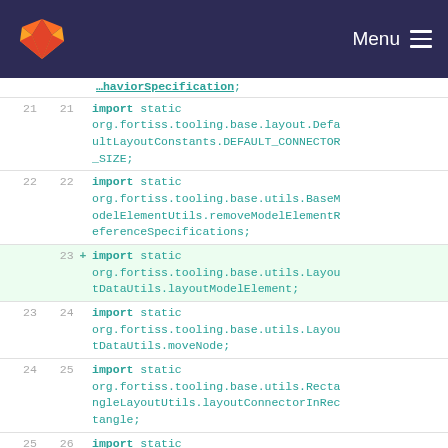GitLab Menu
[Figure (screenshot): GitLab code diff view showing Java import statements, lines 21-25, with line 23 added (highlighted green) importing org.fortiss.tooling.base.utils.LayoutDataUtils.layoutModelElement]
haviorSpecification;
21  21  import static org.fortiss.tooling.base.layout.DefaultLayoutConstants.DEFAULT_CONNECTOR_SIZE;
22  22  import static org.fortiss.tooling.base.utils.BaseModelElementUtils.removeModelElementReferenceSpecifications;
+23  import static org.fortiss.tooling.base.utils.LayoutDataUtils.layoutModelElement;
23  24  import static org.fortiss.tooling.base.utils.LayoutDataUtils.moveNode;
24  25  import static org.fortiss.tooling.base.utils.RectangleLayoutUtils.layoutConnectorInRectangle;
25  26  import static